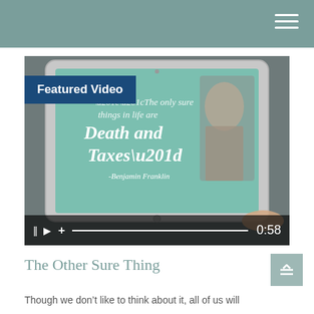[Figure (screenshot): Video player showing a tablet screen displaying a quote by Benjamin Franklin: 'The only sure things in life are Death and Taxes' with Benjamin Franklin's portrait. Video controls show pause, play, plus icons and a progress bar with timestamp 0:58. A 'Featured Video' label overlays the top-left of the video.]
The Other Sure Thing
Though we don't like to think about it, all of us will